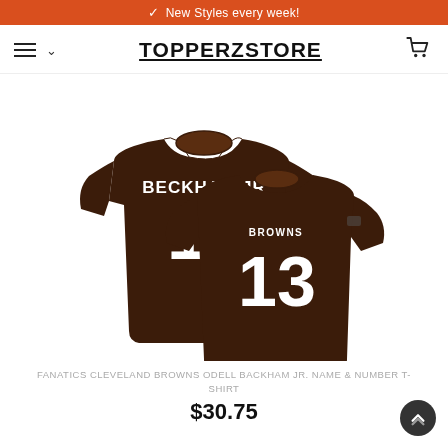✓ New Styles every week!
TOPPERZSTORE
[Figure (photo): Two brown Cleveland Browns Odell Beckham Jr. #13 t-shirts shown front and back. Back view shows BECKHAM JR and number 13. Front view shows BROWNS and number 13.]
FANATICS CLEVELAND BROWNS ODELL BACKHAM JR. NAME & NUMBER T-SHIRT
$30.75